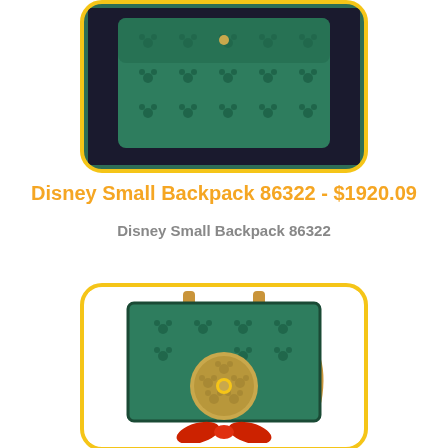[Figure (photo): Green Disney Small Backpack 86322 shown from back/side, with yellow border rounded rectangle frame]
Disney Small Backpack 86322 - $1920.09
Disney Small Backpack 86322
[Figure (photo): Disney Small Backpack 86322 shown from front, teal green with Mickey Mouse pattern, round coin purse accessory, tan/gold straps, red bow at bottom, yellow border rounded rectangle frame]